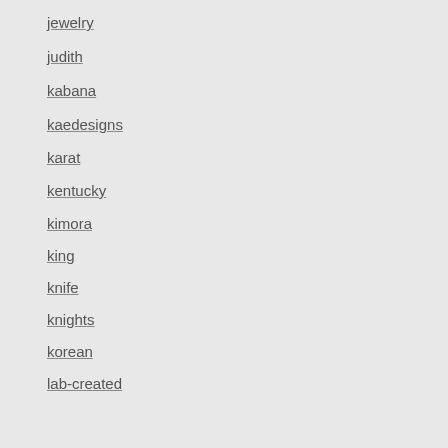jewelry
judith
kabana
kaedesigns
karat
kentucky
kimora
king
knife
knights
korean
lab-created